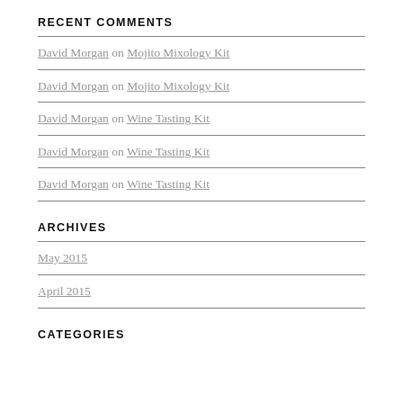RECENT COMMENTS
David Morgan on Mojito Mixology Kit
David Morgan on Mojito Mixology Kit
David Morgan on Wine Tasting Kit
David Morgan on Wine Tasting Kit
David Morgan on Wine Tasting Kit
ARCHIVES
May 2015
April 2015
CATEGORIES